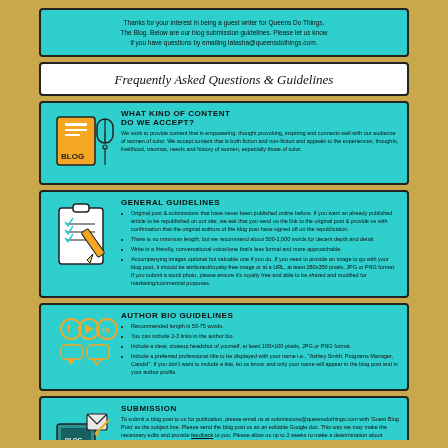Thanks for your interest in being a guest writer for Queens Do Things, The Blog. Below are our blog submission guidelines. Please let us know if you have questions by emailing latasha@queensdothings.com.
Frequently Asked Questions & Guidelines
WHAT KIND OF CONTENT DO WE ACCEPT?
We work to provide content that is empowering, thought provoking, inspiring and connects well with our audience of women of color. We accept content that is both fiction and non-fiction and appeals to the experiences, thoughts, livelihood, traumas, needs and history of women, especially those of color.
GENERAL GUIDELINES
Original post & submissions that have never been published online before. If you want an already published article to be republished on our site, we ask that you send us the link to the original post & provide us with confirmation that the original authors of the blog post have signed off on the republication.
There is no minimum length, but we recommend about 500-1,000 words for decent depth and detail.
Write in a friendly, conversational voice/tone that's less formal and more approachable.
Accompanying images optional but valuable one if you do. If you need to provide an image to go with your blog post, it should be attributed/royalty-free image or at a URL, at least 280x350 pixels, JPG or PNG format. If you submit a stock photo, please ensure it's royalty free and able to be shared and modified for marketing/commercial purposes.
AUTHOR BIO GUIDELINES
Recommended length is 50-75 words.
You can include 2-3 links in the author bio.
Include a clear, closeup headshot of yourself, at least 100×100 pixels, JPG or PNG format.
Include a preferred professional title to be displayed with your name i.e., "Ashley Smith, Programs Manager, Candid". If you don't want to include a title, let us know, and only your name will appear in the blog post and in your author profile.
SUBMISSION
To submit a blog post to us for publication, please email us at submissions@queensdothings.com with 'Guest Blog Post' as the subject line. Please send the blog post us as an editable Google doc. This way we may make the necessary edits and provide feedback to you. Please allow us up to 2 weeks to make a determination about whether we will publish the submission or not, at which point, you will be notified either way.